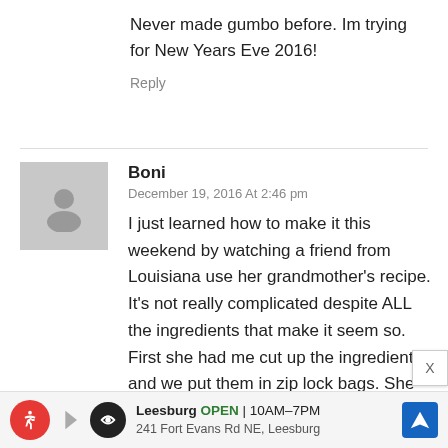Never made gumbo before. Im trying for New Years Eve 2016!
Reply
Boni
December 19, 2016 At 2:46 pm
I just learned how to make it this weekend by watching a friend from Louisiana use her grandmother's recipe. It's not really complicated despite ALL the ingredients that make it seem so. First she had me cut up the ingredients and we put them in zip lock bags. She cooked it the next day (only because she was preparing it for her mother to take to a pot luck lunch that day and she had no room to store the gumbo in her refrigerator the
Leesburg OPEN 10AM–7PM 241 Fort Evans Rd NE, Leesburg